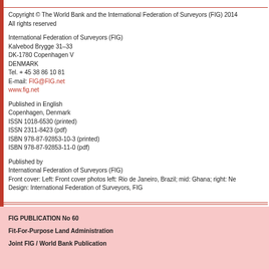Copyright © The World Bank and the International Federation of Surveyors (FIG) 2014
All rights reserved
International Federation of Surveyors (FIG)
Kalvebod Brygge 31–33
DK-1780 Copenhagen V
DENMARK
Tel. + 45 38 86 10 81
E-mail: FIG@FIG.net
www.fig.net
Published in English
Copenhagen, Denmark
ISSN 1018-6530 (printed)
ISSN 2311-8423 (pdf)
ISBN 978-87-92853-10-3 (printed)
ISBN 978-87-92853-11-0 (pdf)
Published by
International Federation of Surveyors (FIG)
Front cover: Left: Front cover photos left: Rio de Janeiro, Brazil; mid: Ghana; right: Ne
Design: International Federation of Surveyors, FIG
FIG PUBLICATION No 60

Fit-For-Purpose Land Administration

Joint FIG / World Bank Publication